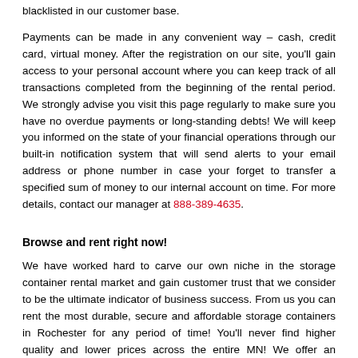blacklisted in our customer base.
Payments can be made in any convenient way – cash, credit card, virtual money. After the registration on our site, you'll gain access to your personal account where you can keep track of all transactions completed from the beginning of the rental period. We strongly advise you visit this page regularly to make sure you have no overdue payments or long-standing debts! We will keep you informed on the state of your financial operations through our built-in notification system that will send alerts to your email address or phone number in case your forget to transfer a specified sum of money to our internal account on time. For more details, contact our manager at 888-389-4635.
Browse and rent right now!
We have worked hard to carve our own niche in the storage container rental market and gain customer trust that we consider to be the ultimate indicator of business success. From us you can rent the most durable, secure and affordable storage containers in Rochester for any period of time! You'll never find higher quality and lower prices across the entire MN! We offer an unmatched level of customer service that includes free delivery, installation